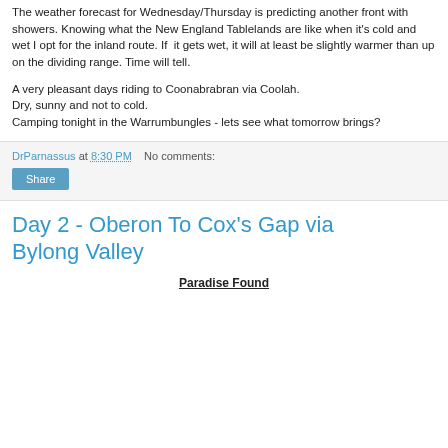The weather forecast for Wednesday/Thursday is predicting another front with showers. Knowing what the New England Tablelands are like when it's cold and wet I opt for the inland route. If it gets wet, it will at least be slightly warmer than up on the dividing range. Time will tell.
A very pleasant days riding to Coonabrabran via Coolah. Dry, sunny and not to cold.
Camping tonight in the Warrumbungles - lets see what tomorrow brings?
DrParnassus at 8:30 PM   No comments:
Share
Day 2 - Oberon To Cox's Gap via Bylong Valley
Paradise Found